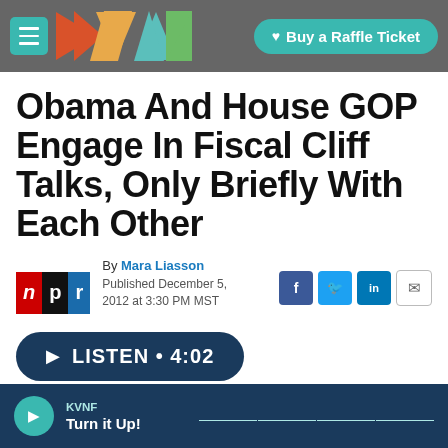KVNF — Buy a Raffle Ticket
Obama And House GOP Engage In Fiscal Cliff Talks, Only Briefly With Each Other
By Mara Liasson
Published December 5, 2012 at 3:30 PM MST
LISTEN • 4:02
KVNF
Turn it Up!